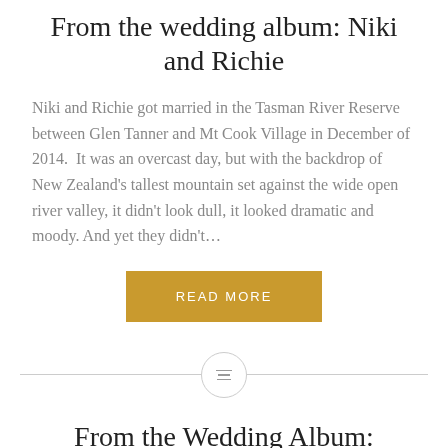From the wedding album: Niki and Richie
Niki and Richie got married in the Tasman River Reserve between Glen Tanner and Mt Cook Village in December of 2014.  It was an overcast day, but with the backdrop of New Zealand's tallest mountain set against the wide open river valley, it didn't look dull, it looked dramatic and moody. And yet they didn't…
READ MORE
From the Wedding Album: Shelley and